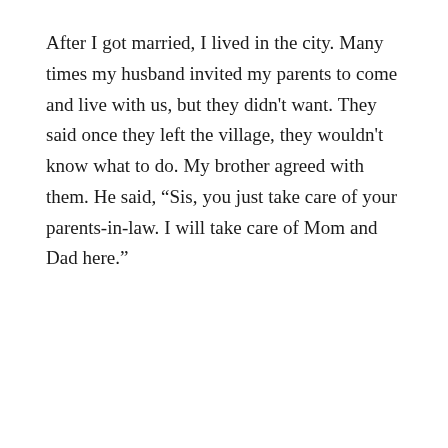After I got married, I lived in the city. Many times my husband invited my parents to come and live with us, but they didn't want. They said once they left the village, they wouldn't know what to do. My brother agreed with them. He said, “Sis, you just take care of your parents-in-law. I will take care of Mom and Dad here.”